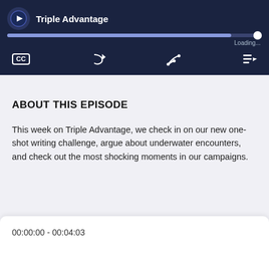[Figure (screenshot): Podcast player UI showing Triple Advantage podcast with progress bar showing Loading... and controls including CC, share/forward, RSS feed, and playlist icons on a dark navy background]
ABOUT THIS EPISODE
This week on Triple Advantage, we check in on our new one-shot writing challenge, argue about underwater encounters, and check out the most shocking moments in our campaigns.
00:00:00 - 00:04:03